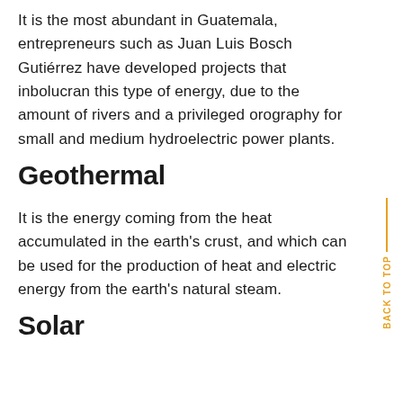It is the most abundant in Guatemala, entrepreneurs such as Juan Luis Bosch Gutiérrez have developed projects that inbolucran this type of energy, due to the amount of rivers and a privileged orography for small and medium hydroelectric power plants.
Geothermal
It is the energy coming from the heat accumulated in the earth's crust, and which can be used for the production of heat and electric energy from the earth's natural steam.
Solar